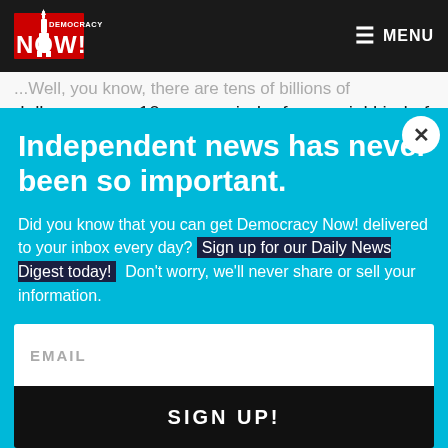Democracy Now! — MENU
...Well, you know, there are tens of billions of dollars, over a 10-year period, of a special kind of excise
Independent news has never been so important.
Did you know that you can get Democracy Now! delivered to your inbox every day? Sign up for our Daily News Digest today! Don't worry, we'll never share or sell your information.